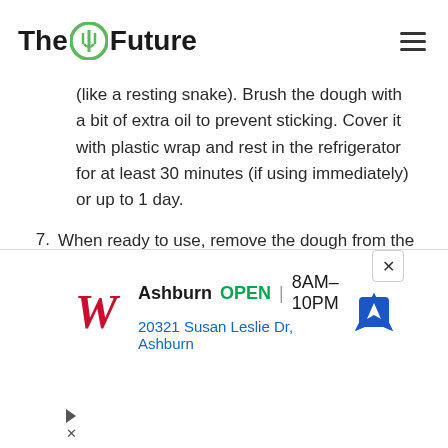The Future
(like a resting snake). Brush the dough with a bit of extra oil to prevent sticking. Cover it with plastic wrap and rest in the refrigerator for at least 30 minutes (if using immediately) or up to 1 day.
7. When ready to use, remove the dough from the refrigerator and let it rest at room temperature for 10 minutes.
8. Fill a large pot with water
[Figure (other): Walgreens advertisement banner: Ashburn OPEN 8AM-10PM, 20321 Susan Leslie Dr, Ashburn]